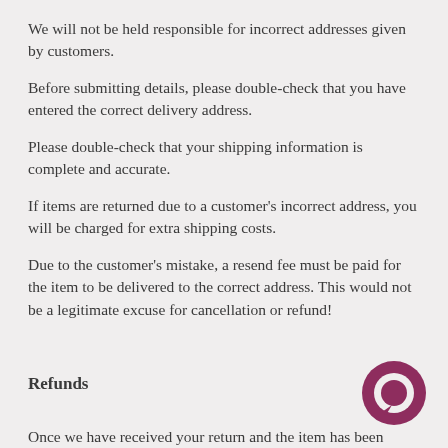We will not be held responsible for incorrect addresses given by customers.
Before submitting details, please double-check that you have entered the correct delivery address.
Please double-check that your shipping information is complete and accurate.
If items are returned due to a customer's incorrect address, you will be charged for extra shipping costs.
Due to the customer's mistake, a resend fee must be paid for the item to be delivered to the correct address. This would not be a legitimate excuse for cancellation or refund!
Refunds
[Figure (illustration): Dark magenta/purple circular chat bubble icon in the bottom right corner]
Once we have received your return and the item has been